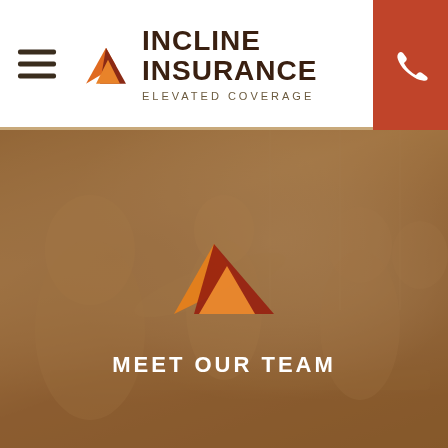Incline Insurance — Elevated Coverage
[Figure (photo): Hero image of business team members collaborating around a table, shaking hands and smiling, with a warm orange/brown tinted overlay. An Incline Insurance mountain logo mark is overlaid in the center of the image. Text 'MEET OUR TEAM' appears below the logo mark in white uppercase letters.]
MEET OUR TEAM